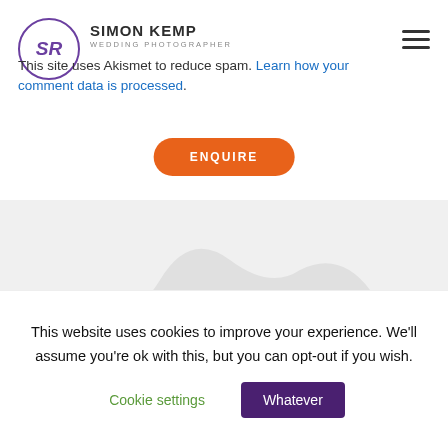[Figure (logo): Simon Kemp Wedding Photographer logo - circular purple border with SR initials, brand name SIMON KEMP and WEDDING PHOTOGRAPHER text]
This site uses Akismet to reduce spam. Learn how your comment data is processed.
ENQUIRE
[Figure (illustration): Mountain/wave silhouette background in light gray]
FAQ
ABOUT
WEDDING ALBUMS
CONTACT
This website uses cookies to improve your experience. We'll assume you're ok with this, but you can opt-out if you wish.
Cookie settings
Whatever